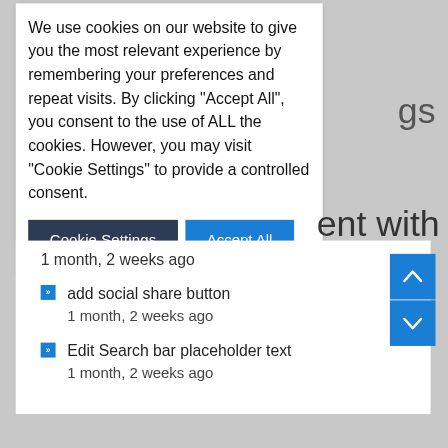We use cookies on our website to give you the most relevant experience by remembering your preferences and repeat visits. By clicking “Accept All”, you consent to the use of ALL the cookies. However, you may visit "Cookie Settings" to provide a controlled consent.
Cookie Settings  Accept All
1 month, 2 weeks ago
add social share button
1 month, 2 weeks ago
Edit Search bar placeholder text
1 month, 2 weeks ago